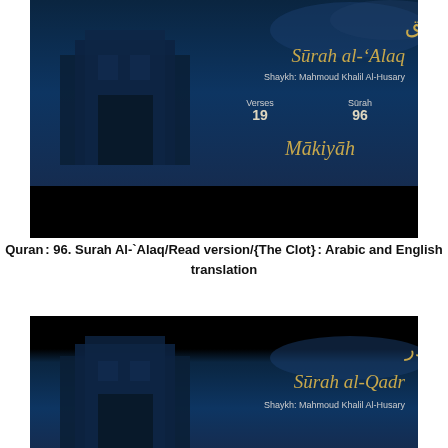[Figure (screenshot): Dark blue background with Kaaba image, showing Surah al-Alaq title in Arabic and English, with Shaykh name, Verses 19, Surah 96, Makiyah label]
Quran: 96. Surah Al-ʿAlaq/Read version/{The Clot}: Arabic and English translation
[Figure (screenshot): Dark blue/black background with Kaaba image, showing Surah al-Qadr title in Arabic and English, with Shaykh name Mahmoud Khalil Al-Husary]